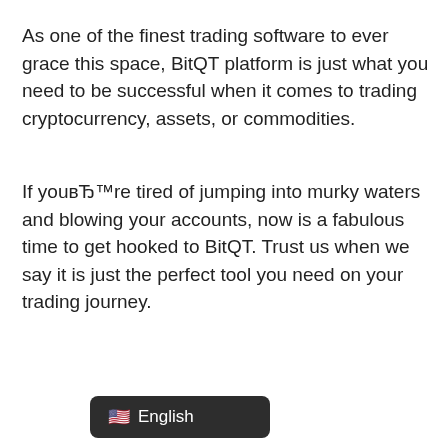As one of the finest trading software to ever grace this space, BitQT platform is just what you need to be successful when it comes to trading cryptocurrency, assets, or commodities.
If youвЂ™re tired of jumping into murky waters and blowing your accounts, now is a fabulous time to get hooked to BitQT. Trust us when we say it is just the perfect tool you need on your trading journey.
[Figure (other): A dark rounded rectangle UI button showing a US flag emoji and the text 'English', resembling a language selector widget.]